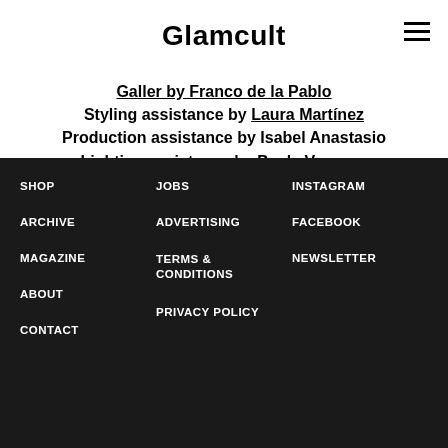Glamcult
Galler by Franco de la Pablo
Styling assistance by Laura Martínez
Production assistance by Isabel Anastasio
Lighting assistance by Paula Vazquez
Special thanks to Eéra, Artspace Barcelona and EXTENSIONmania
SHOP | JOBS | INSTAGRAM | ARCHIVE | ADVERTISING | FACEBOOK | MAGAZINE | TERMS & CONDITIONS | NEWSLETTER | ABOUT | PRIVACY POLICY | CONTACT